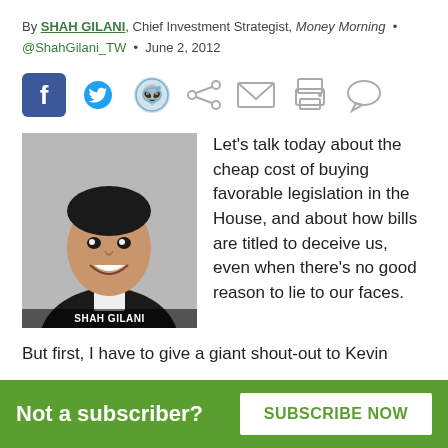By SHAH GILANI, Chief Investment Strategist, Money Morning • @ShahGilani_TW • June 2, 2012
[Figure (infographic): Social sharing icons: Facebook, Twitter, Reddit, Share, Email, Print, Comment]
[Figure (photo): Black and white headshot photo of Shah Gilani with caption 'SHAH GILANI']
Let's talk today about the cheap cost of buying favorable legislation in the House, and about how bills are titled to deceive us, even when there's no good reason to lie to our faces.
But first, I have to give a giant shout-out to Kevin
Not a subscriber?  SUBSCRIBE NOW